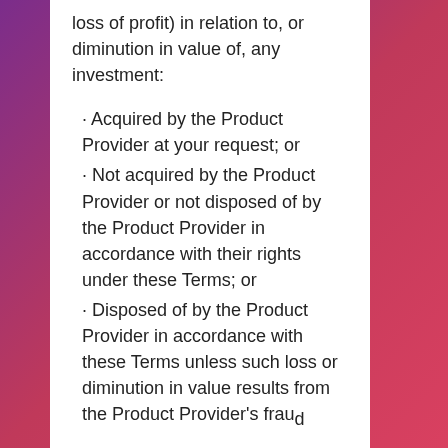loss of profit) in relation to, or diminution in value of, any investment:
• Acquired by the Product Provider at your request; or
• Not acquired by the Product Provider or not disposed of by the Product Provider in accordance with their rights under these Terms; or
• Disposed of by the Product Provider in accordance with these Terms unless such loss or diminution in value results from the Product Provider's fraud